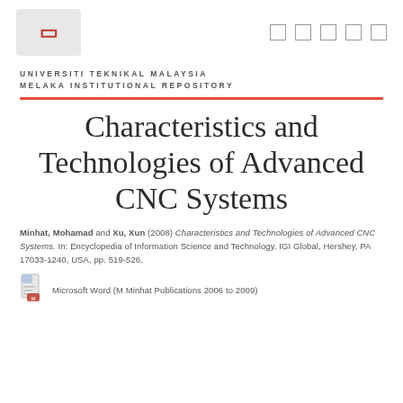UNIVERSITI TEKNIKAL MALAYSIA MELAKA INSTITUTIONAL REPOSITORY
Characteristics and Technologies of Advanced CNC Systems
Minhat, Mohamad and Xu, Xun (2008) Characteristics and Technologies of Advanced CNC Systems. In: Encyclopedia of Information Science and Technology. IGI Global, Hershey, PA 17033-1240, USA, pp. 519-526.
Microsoft Word (M Minhat Publications 2006 to 2009)